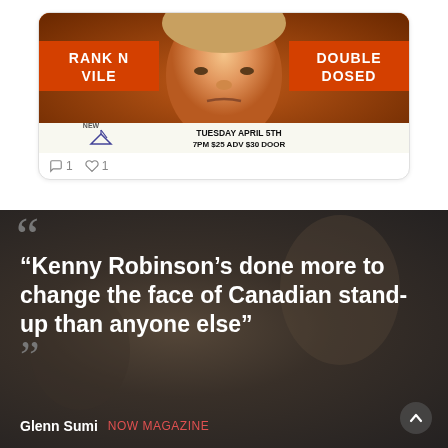[Figure (screenshot): Social media card showing an event poster for a comedy show. Orange background with a man's face in the center. Left banner reads 'RANK N VILE', right banner reads 'DOUBLE DOSED'. Bottom strip shows 'NEW' logo with a paper boat icon, and text 'TUESDAY APRIL 5TH 7PM $25 ADV $30 DOOR'. Below the card shows reaction counts: comment icon with 1, heart icon with 1.]
“Kenny Robinson’s done more to change the face of Canadian stand-up than anyone else”
Glenn Sumi  NOW MAGAZINE